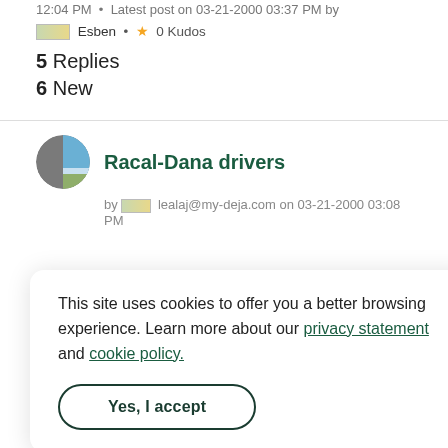12:04 PM • Latest post on 03-21-2000 03:37 PM by
Esben • 0 Kudos
5 Replies
6 New
Racal-Dana drivers
by lealaj@my-deja.com on 03-21-2000 03:08 PM
This site uses cookies to offer you a better browsing experience. Learn more about our privacy statement and cookie policy.
Yes, I accept